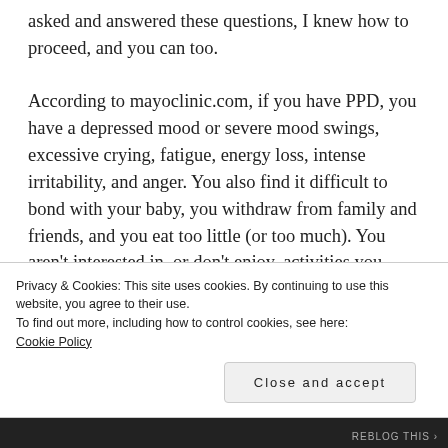asked and answered these questions, I knew how to proceed, and you can too.
According to mayoclinic.com, if you have PPD, you have a depressed mood or severe mood swings, excessive crying, fatigue, energy loss, intense irritability, and anger. You also find it difficult to bond with your baby, you withdraw from family and friends, and you eat too little (or too much). You aren't interested in, or don't enjoy, activities you used to enjoy; you have severe anxiety or panic attacks; and you have recurring thoughts of harming your baby or yourself.
Privacy & Cookies: This site uses cookies. By continuing to use this website, you agree to their use.
To find out more, including how to control cookies, see here:
Cookie Policy
Close and accept